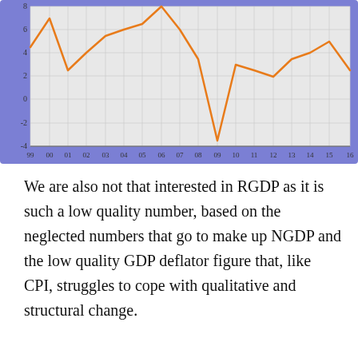[Figure (line-chart): ]
We are also not that interested in RGDP as it is such a low quality number, based on the neglected numbers that go to make up NGDP and the low quality GDP deflator figure that, like CPI, struggles to cope with qualitative and structural change.